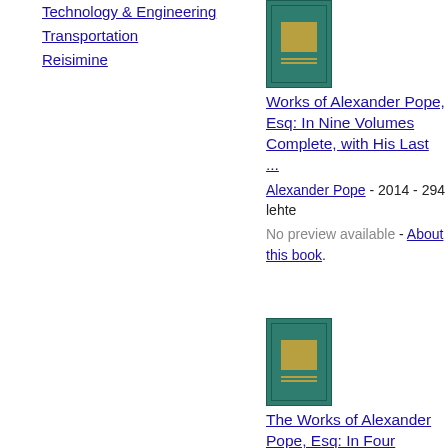Technology & Engineering
Transportation
Reisimine
[Figure (photo): Book cover of Works of Alexander Pope, Esq: In Nine Volumes Complete, with His Last ... — green hardcover with gold decorative box]
Works of Alexander Pope, Esq: In Nine Volumes Complete, with His Last ...
Alexander Pope - 2014 - 294 lehte
No preview available - About this book .
[Figure (photo): Book cover of The Works of Alexander Pope, Esq: In Four Volumes Complete, with His ... — green hardcover]
The Works of Alexander Pope, Esq: In Four Volumes Complete, with His ...